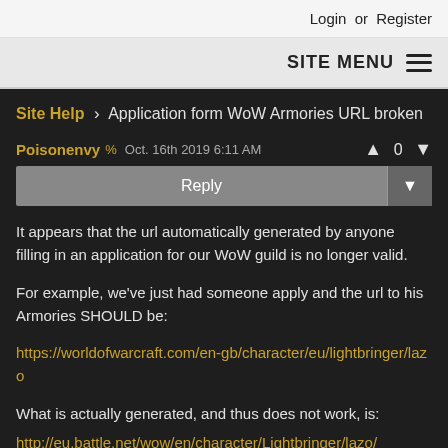Login or Register
SITE MENU
Site Help > Application form WoW Armories URL broken
Poisonenvy % Oct. 16th 2019 6:11 AM   0
Reply
It appears that the url automatically generated by anyone filling in an application for our WoW guild is no longer valid.
For example, we've just had someone apply and the url to his Armories SHOULD be:
https://worldofwarcraft.com/en-gb/character/eu/lightbringer/lazo
What is actually generated, and thus does not work, is:
http://eu.battle.net/wow/en/character/Lightbringer/lazo/